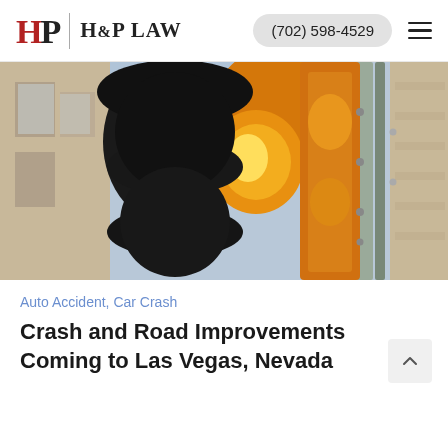H&P LAW | (702) 598-4529
[Figure (photo): Close-up photo of yellow/orange traffic lights against a building and metal pole background]
Auto Accident, Car Crash
Crash and Road Improvements Coming to Las Vegas, Nevada